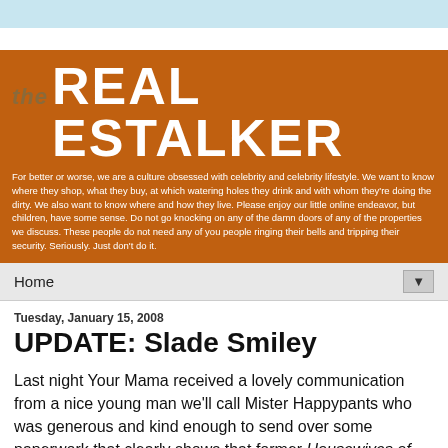[Figure (logo): The Real Estalker blog header banner with orange background, large white bold text 'REAL ESTALKER', smaller italic gray 'the', and white descriptive tagline text below]
Home
Tuesday, January 15, 2008
UPDATE: Slade Smiley
Last night Your Mama received a lovely communication from a nice young man we'll call Mister Happypants who was generous and kind enough to send over some paperwork that clearly shows that former Housewives of Orange County stud muffin Slade Smiley's Coto de Caza house is indeed sliding into foreclosure, if it hasn't already...